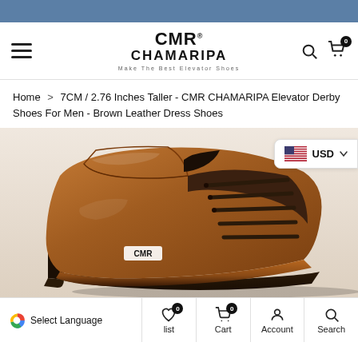CMR CHAMARIPA - Make The Best Elevator Shoes
Home > 7CM / 2.76 Inches Taller - CMR CHAMARIPA Elevator Derby Shoes For Men - Brown Leather Dress Shoes
[Figure (photo): Brown leather CMR CHAMARIPA elevator derby dress shoe with dark laces, shown at an angle against a light background. The CMR logo is visible on the insole.]
Select Language  |  list  Cart  Account  Search